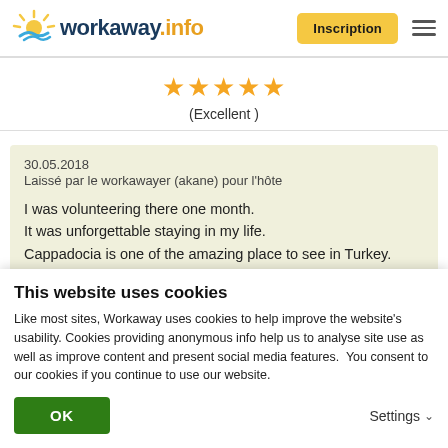[Figure (logo): Workaway.info logo with sun graphic]
Inscription
[Figure (other): Hamburger menu icon]
★★★★★
(Excellent )
30.05.2018
Laissé par le workawayer (akane) pour l'hôte

I was volunteering there one month.
It was unforgettable staying in my life.
Cappadocia is one of the amazing place to see in Turkey.
There is full of historical and mysterious caves and valleys I was enjoyed hiking a lots when I was free.
This website uses cookies
Like most sites, Workaway uses cookies to help improve the website's usability. Cookies providing anonymous info help us to analyse site use as well as improve content and present social media features.  You consent to our cookies if you continue to use our website.
OK
Settings